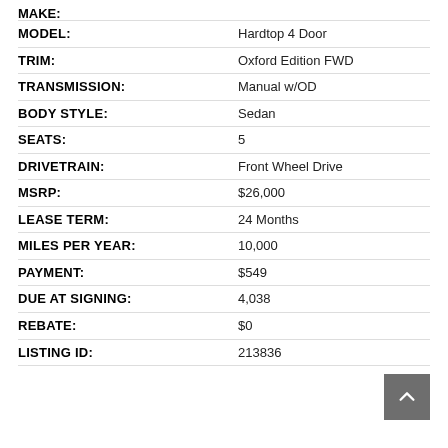MAKE: [cut off]
MODEL: Hardtop 4 Door
TRIM: Oxford Edition FWD
TRANSMISSION: Manual w/OD
BODY STYLE: Sedan
SEATS: 5
DRIVETRAIN: Front Wheel Drive
MSRP: $26,000
LEASE TERM: 24 Months
MILES PER YEAR: 10,000
PAYMENT: $549
DUE AT SIGNING: 4,038
REBATE: $0
LISTING ID: 213836